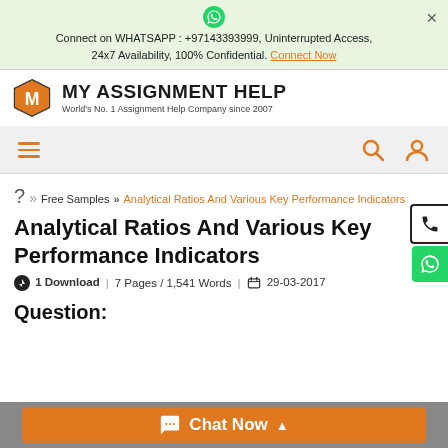Connect on WHATSAPP : +97143393999, Uninterrupted Access, 24x7 Availability, 100% Confidential. Connect Now
[Figure (logo): My Assignment Help logo with orange hexagon M icon and text 'MY ASSIGNMENT HELP - World's No. 1 Assignment Help Company since 2007']
[Figure (other): Navigation bar with hamburger menu, search icon and user icon]
Free Samples >> Analytical Ratios And Various Key Performance Indicators
Analytical Ratios And Various Key Performance Indicators
1 Download | 7 Pages / 1,541 Words | 29-03-2017
Question: